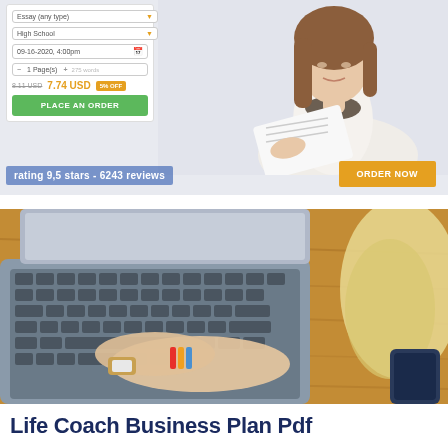[Figure (screenshot): Top banner showing an essay writing service order form UI with fields for essay type, high school level, date 09-16-2020 4:00pm, quantity 1 page / 275 words, price 8.11 USD struck through and 7.74 USD with 5% OFF badge, green PLACE AN ORDER button, rating 9.5 stars - 6243 reviews text, and a woman reading a document on the right, with an orange ORDER NOW button.]
[Figure (photo): Photo of a blonde woman's hands typing on a laptop keyboard on a wooden table, with colorful bracelets and a watch visible.]
Life Coach Business Plan Pdf